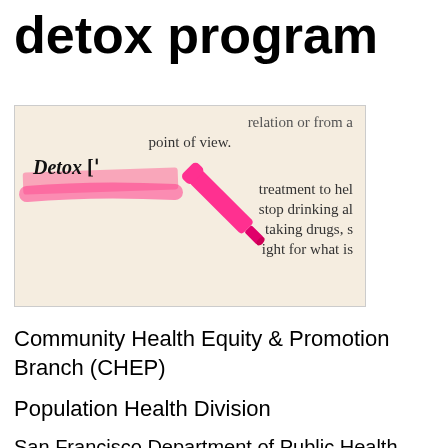detox program
[Figure (photo): Dictionary entry showing the word 'Detox' highlighted in pink with a pink highlighter pen. Surrounding text reads: 'relation or from a point of view. Detox [... treatment to help stop drinking al... taking drugs, s... ight for what is']
Community Health Equity & Promotion Branch (CHEP)
Population Health Division
San Francisco Department of Public Health